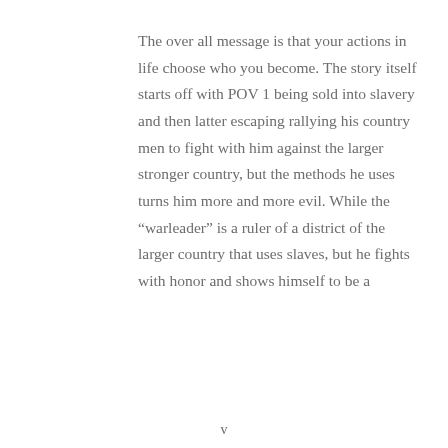The over all message is that your actions in life choose who you become. The story itself starts off with POV 1 being sold into slavery and then latter escaping rallying his country men to fight with him against the larger stronger country, but the methods he uses turns him more and more evil. While the "warleader" is a ruler of a district of the larger country that uses slaves, but he fights with honor and shows himself to be a
v